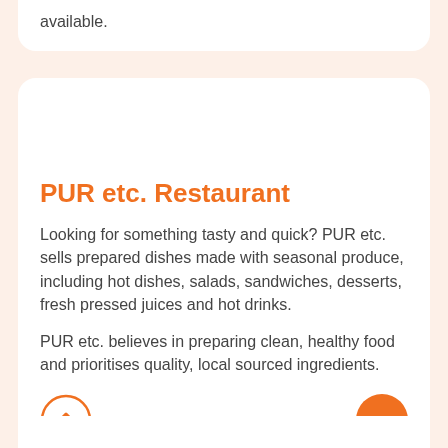available.
PUR etc. Restaurant
Looking for something tasty and quick? PUR etc. sells prepared dishes made with seasonal produce, including hot dishes, salads, sandwiches, desserts, fresh pressed juices and hot drinks.
PUR etc. believes in preparing clean, healthy food and prioritises quality, local sourced ingredients.